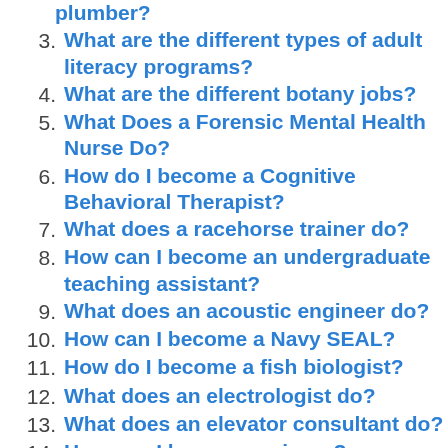plumber?
3. What are the different types of adult literacy programs?
4. What are the different botany jobs?
5. What Does a Forensic Mental Health Nurse Do?
6. How do I become a Cognitive Behavioral Therapist?
7. What does a racehorse trainer do?
8. How can I become an undergraduate teaching assistant?
9. What does an acoustic engineer do?
10. How can I become a Navy SEAL?
11. How do I become a fish biologist?
12. What does an electrologist do?
13. What does an elevator consultant do?
14. How can I become a singer?